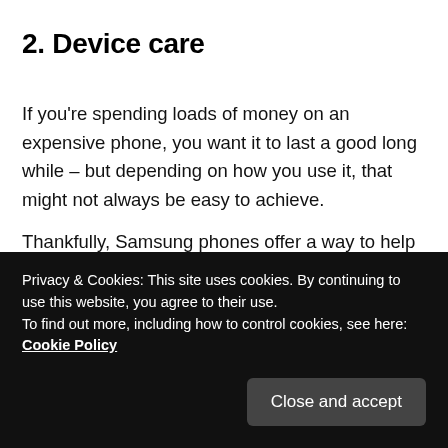2. Device care
If you're spending loads of money on an expensive phone, you want it to last a good long while – but depending on how you use it, that might not always be easy to achieve.
Thankfully, Samsung phones offer a way to help with this. In the Battery section of your Settings mode, you can find the Device Care menu. Here, you can see how healthy your device is, with a simple score letting you know how well-optimized the phone is f
Privacy & Cookies: This site uses cookies. By continuing to use this website, you agree to their use.
To find out more, including how to control cookies, see here: Cookie Policy
Close and accept